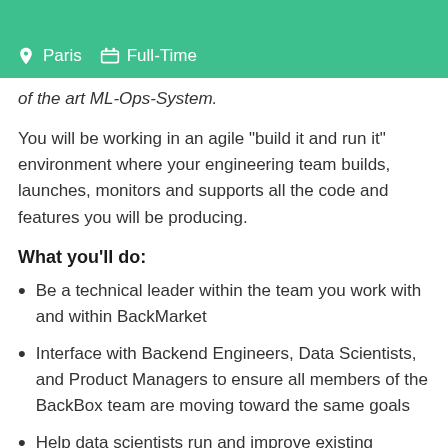Paris   Full-Time
of the art ML-Ops-System.
You will be working in an agile "build it and run it" environment where your engineering team builds, launches, monitors and supports all the code and features you will be producing.
What you'll do:
Be a technical leader within the team you work with and within BackMarket
Interface with Backend Engineers, Data Scientists, and Product Managers to ensure all members of the BackBox team are moving toward the same goals
Help data scientists run and improve existing machine learning models
Work on Back Market's ML platform in order to